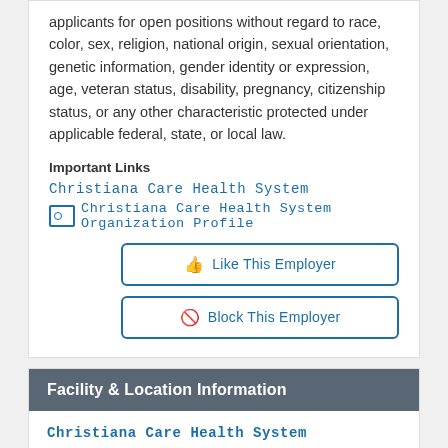applicants for open positions without regard to race, color, sex, religion, national origin, sexual orientation, genetic information, gender identity or expression, age, veteran status, disability, pregnancy, citizenship status, or any other characteristic protected under applicable federal, state, or local law.
Important Links
Christiana Care Health System
Christiana Care Health System Organization Profile
Like This Employer
Block This Employer
Facility & Location Information
Christiana Care Health System
ChristianaCare - Southern New Jersey
Southern New Jersey Practices
NJ 08069